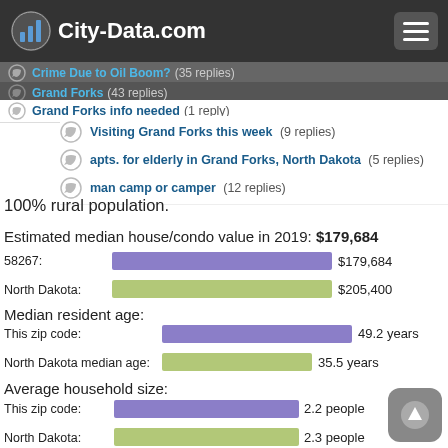City-Data.com
Crime Due to Oil Boom? (35 replies)
Grand Forks (43 replies)
Grand Forks info needed (1 reply)
Visiting Grand Forks this week (9 replies)
apts. for elderly in Grand Forks, North Dakota (5 replies)
man camp or camper (12 replies)
100% rural population.
Estimated median house/condo value in 2019: $179,684
[Figure (bar-chart): House/condo value]
Median resident age:
[Figure (bar-chart): Median resident age]
Average household size:
[Figure (bar-chart): Average household size]